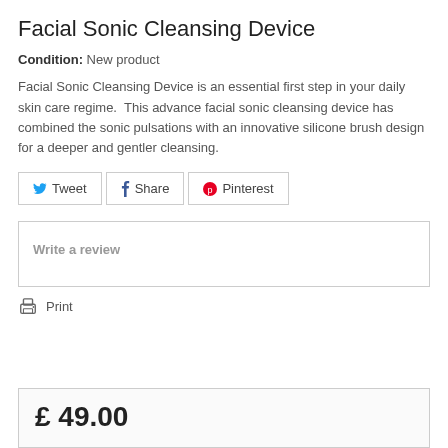Facial Sonic Cleansing Device
Condition: New product
Facial Sonic Cleansing Device is an essential first step in your daily skin care regime.  This advance facial sonic cleansing device has combined the sonic pulsations with an innovative silicone brush design for a deeper and gentler cleansing.
Tweet  Share  Pinterest
Write a review
Print
£ 49.00